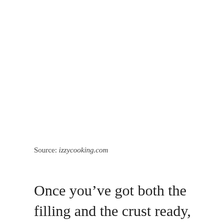Source: izzycooking.com
Once you’ve got both the filling and the crust ready, you’ve got 2 options: In a large bowl, beat the cream cheese, sour cream, sugar, and